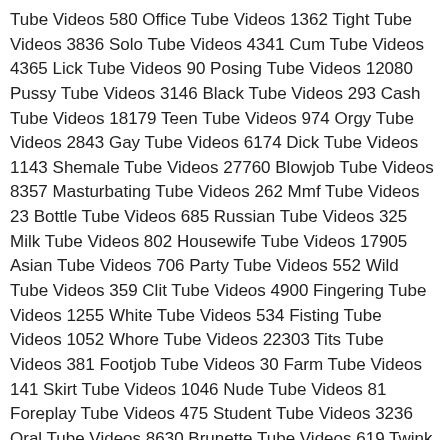Tube Videos 580 Office Tube Videos 1362 Tight Tube Videos 3836 Solo Tube Videos 4341 Cum Tube Videos 4365 Lick Tube Videos 90 Posing Tube Videos 12080 Pussy Tube Videos 3146 Black Tube Videos 293 Cash Tube Videos 18179 Teen Tube Videos 974 Orgy Tube Videos 2843 Gay Tube Videos 6174 Dick Tube Videos 1143 Shemale Tube Videos 27760 Blowjob Tube Videos 8357 Masturbating Tube Videos 262 Mmf Tube Videos 23 Bottle Tube Videos 685 Russian Tube Videos 325 Milk Tube Videos 802 Housewife Tube Videos 17905 Asian Tube Videos 706 Party Tube Videos 552 Wild Tube Videos 359 Clit Tube Videos 4900 Fingering Tube Videos 1255 White Tube Videos 534 Fisting Tube Videos 1052 Whore Tube Videos 22303 Tits Tube Videos 381 Footjob Tube Videos 30 Farm Tube Videos 141 Skirt Tube Videos 1046 Nude Tube Videos 81 Foreplay Tube Videos 475 Student Tube Videos 3236 Oral Tube Videos 8630 Brunette Tube Videos 619 Twink Tube Videos 291 Crazy Tube Videos 1663 Cute Tube Videos 466 Pretty Tube Videos 2434 Fat Tube Videos 106 Undressing Tube Videos 166 Secretary Tube Videos 3754 Sucking Tube Videos 293 Doll Tube Videos 53 Jeans Tube Videos 508 Glamour Tube Videos 2263 Lingerie